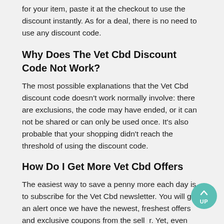for your item, paste it at the checkout to use the discount instantly. As for a deal, there is no need to use any discount code.
Why Does The Vet Cbd Discount Code Not Work?
The most possible explanations that the Vet Cbd discount code doesn't work normally involve: there are exclusions, the code may have ended, or it can not be shared or can only be used once. It's also probable that your shopping didn't reach the threshold of using the discount code.
How Do I Get More Vet Cbd Offers
The easiest way to save a penny more each day is to subscribe for the Vet Cbd newsletter. You will get an alert once we have the newest, freshest offers and exclusive coupons from the seller. Yet, even better offers are all here on CheapCBDOffer, so bookmark our website now and save a penny more each day.